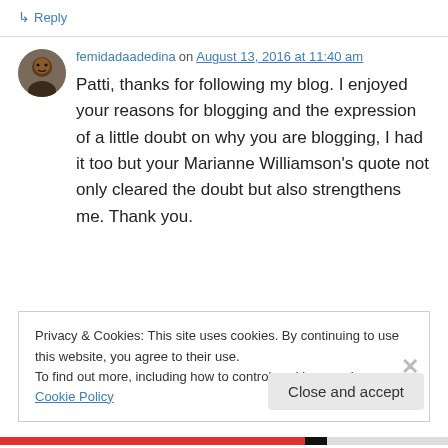↳ Reply
femidadaadedina on August 13, 2016 at 11:40 am
Patti, thanks for following my blog. I enjoyed your reasons for blogging and the expression of a little doubt on why you are blogging, I had it too but your Marianne Williamson's quote not only cleared the doubt but also strengthens me. Thank you.
Privacy & Cookies: This site uses cookies. By continuing to use this website, you agree to their use.
To find out more, including how to control cookies, see here: Cookie Policy
Close and accept